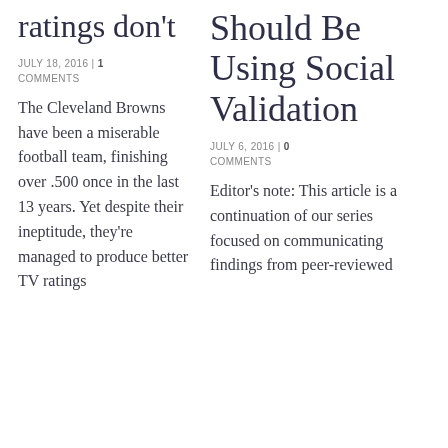ratings don't
JULY 18, 2016 | 1 COMMENTS
The Cleveland Browns have been a miserable football team, finishing over .500 once in the last 13 years. Yet despite their ineptitude, they're managed to produce better TV ratings
Should Be Using Social Validation
JULY 6, 2016 | 0 COMMENTS
Editor's note: This article is a continuation of our series focused on communicating findings from peer-reviewed